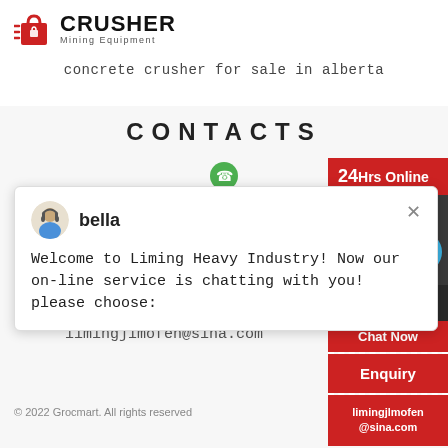[Figure (logo): Crusher Mining Equipment logo with red shopping bag icon and bold black text]
concrete crusher for sale in alberta
CONTACTS
+8615516432285
[Figure (illustration): Green phone icon]
[Figure (illustration): Green envelope/email icon]
limingjlmofen@sina.com
[Figure (screenshot): Chat popup with bella avatar, welcome message: Welcome to Liming Heavy Industry! Now our on-line service is chatting with you! please choose:]
[Figure (infographic): Right sidebar with 24Hrs Online label, chat agent image, blue badge with number 1, Need suggestions area, Chat Now button, Enquiry label, limingjlmofen@sina.com]
© 2022 Grocmart. All rights reserved